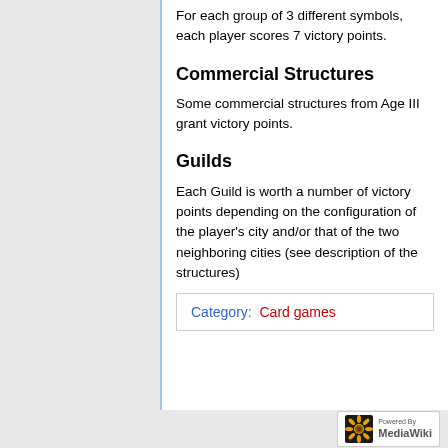For each group of 3 different symbols, each player scores 7 victory points.
Commercial Structures
Some commercial structures from Age III grant victory points.
Guilds
Each Guild is worth a number of victory points depending on the configuration of the player's city and/or that of the two neighboring cities (see description of the structures)
Category:  Card games
[Figure (logo): Powered by MediaWiki logo badge]